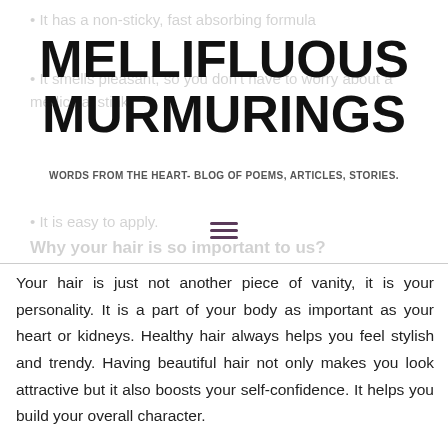It has a non-sticky, fast absorbing formula
It smells pleasant, so you don't have to worry about a medicinal stink.
MELLIFLUOUS MURMURINGS
WORDS FROM THE HEART- BLOG OF POEMS, ARTICLES, STORIES.
It is easy to apply.
Why your hair is so important to us?
Your hair is just not another piece of vanity, it is your personality. It is a part of your body as important as your heart or kidneys. Healthy hair always helps you feel stylish and trendy. Having beautiful hair not only makes you look attractive but it also boosts your self-confidence. It helps you build your overall character.
You can fight early signs of hair loss with Livon Hair Gain Tonic and see how the world changes